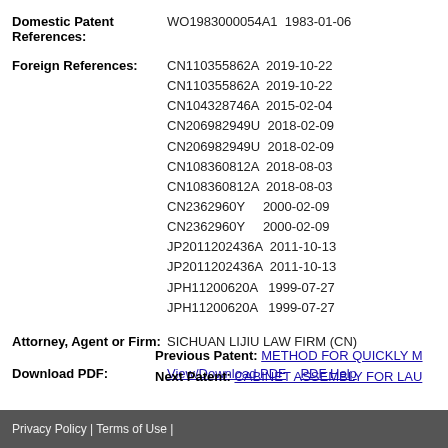Domestic Patent References: WO1983000054A1 1983-01-06
Foreign References: CN110355862A 2019-10-22, CN110355862A 2019-10-22, CN104328746A 2015-02-04, CN206982949U 2018-02-09, CN206982949U 2018-02-09, CN108360812A 2018-08-03, CN108360812A 2018-08-03, CN2362960Y 2000-02-09, CN2362960Y 2000-02-09, JP2011202436A 2011-10-13, JP2011202436A 2011-10-13, JPH11200620A 1999-07-27, JPH11200620A 1999-07-27
Attorney, Agent or Firm: SICHUAN LIJIU LAW FIRM (CN)
Download PDF: View/Download PDF  PDF Help
Previous Patent: METHOD FOR QUICKLY M
Next Patent: CABINET ASSEMBLY FOR LAU
Privacy Policy | Terms of Use |